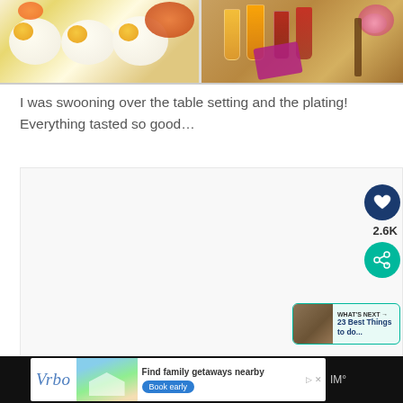[Figure (photo): Two food photos side by side: left shows fried eggs on a white plate with other dishes, right shows a table setting with drinks including orange juice and red drinks]
I was swooning over the table setting and the plating! Everything tasted so good…
[Figure (screenshot): Content area with social media UI elements: heart/like button (dark blue), count showing 2.6K, share button (teal), and a 'WHAT'S NEXT' card showing '23 Best Things to do...']
[Figure (screenshot): Advertisement banner at bottom: Vrbo ad with 'Find family getaways nearby' text and 'Book early' button, shown on dark background with weather app icon]